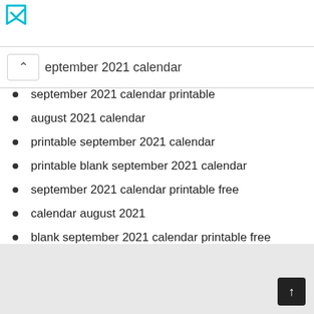[Figure (logo): Teal/cyan arrow or bookmark logo icon in top left corner]
september 2021 calendar
september 2021 calendar printable
august 2021 calendar
printable september 2021 calendar
printable blank september 2021 calendar
september 2021 calendar printable free
calendar august 2021
blank september 2021 calendar printable free
september calendar 2021 printable
free printable september 2021 calendar pdf